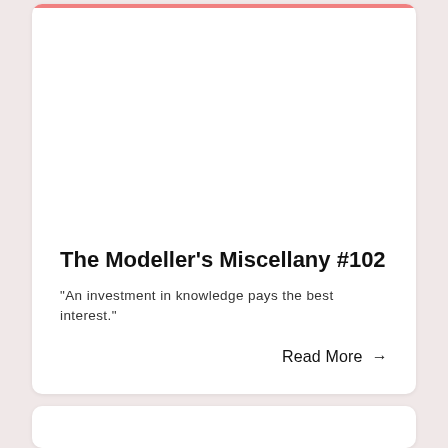The Modeller's Miscellany #102
“An investment in knowledge pays the best interest.”
Read More →